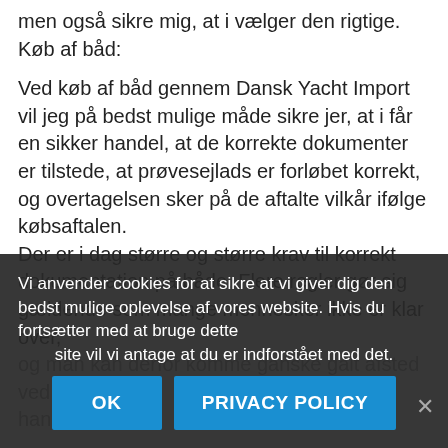og beskrive, hvad hun kan på tidligere jer en båd, men også sikre mig, at i vælger den rigtige. Køb af båd:
Ved køb af båd gennem Dansk Yacht Import vil jeg på bedst mulige måde sikre jer, at i får en sikker handel, at de korrekte dokumenter er tilstede, at prøvesejlads er forløbet korrekt, og overtagelsen sker på de aftalte vilkår ifølge købsaftalen. Der er i dag større og større krav til korrekt dokumentation på både. Flere regler gør sig gældende som mange mennesker ikke er klar over, og man kan derfor komme ganske galt afsted ved handler båd.
Eksempel jeg or køber, sælger og sågar andre mæglere ikke er klar
Vi anvender cookies for at sikre at vi giver dig den bedst mulige oplevelse af vores website. Hvis du fortsætter med at bruge dette site vil vi antage at du er indforstået med det.